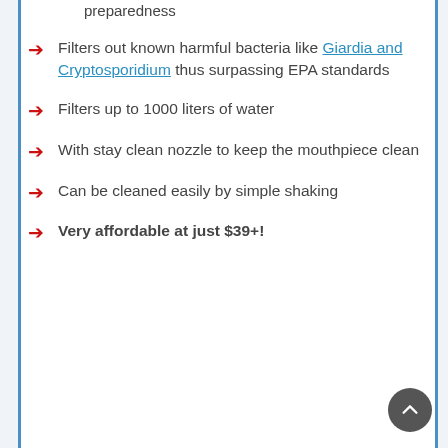preparedness
Filters out known harmful bacteria like Giardia and Cryptosporidium thus surpassing EPA standards
Filters up to 1000 liters of water
With stay clean nozzle to keep the mouthpiece clean
Can be cleaned easily by simple shaking
Very affordable at just $39+!